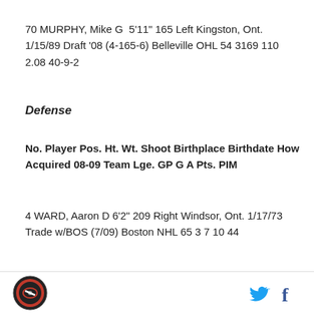70 MURPHY, Mike G  5'11" 165 Left Kingston, Ont. 1/15/89 Draft '08 (4-165-6) Belleville OHL 54 3169 110 2.08 40-9-2
Defense
No. Player Pos. Ht. Wt. Shoot Birthplace Birthdate How Acquired 08-09 Team Lge. GP G A Pts. PIM
4 WARD, Aaron D 6'2" 209 Right Windsor, Ont. 1/17/73 Trade w/BOS (7/09) Boston NHL 65 3 7 10 44
6 GLEASON, Tim D 6'0" 217 Left Clawson